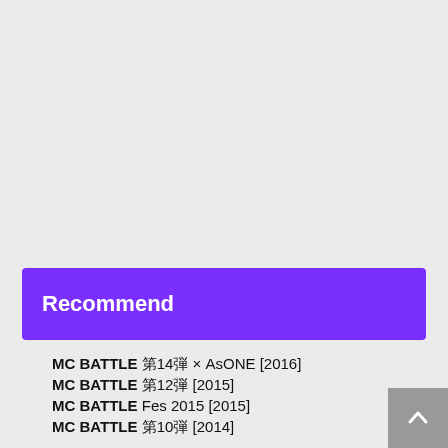Recommend
MC BATTLE 第14弾 × AsONE [2016]
MC BATTLE 第12弾 [2015]
MC BATTLE Fes 2015 [2015]
MC BATTLE 第10弾 [2014]